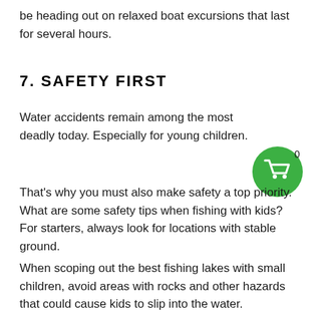be heading out on relaxed boat excursions that last for several hours.
7. SAFETY FIRST
Water accidents remain among the most deadly today. Especially for young children.
[Figure (illustration): Green circular shopping cart icon with badge showing 0]
That's why you must also make safety a top priority. What are some safety tips when fishing with kids? For starters, always look for locations with stable ground.
When scoping out the best fishing lakes with small children, avoid areas with rocks and other hazards that could cause kids to slip into the water.